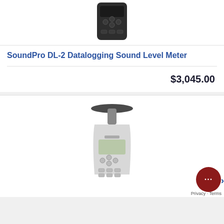[Figure (photo): Top portion of a handheld datalogging sound level meter device, dark colored with buttons]
SoundPro DL-2 Datalogging Sound Level Meter
$3,045.00
[Figure (photo): A sound level meter with a wide disc-shaped microphone on top, white/grey body with display screen and buttons]